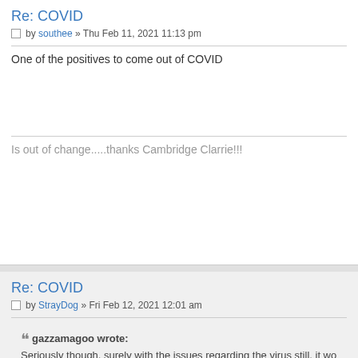Re: COVID
by southee » Thu Feb 11, 2021 11:13 pm
One of the positives to come out of COVID
Is out of change.....thanks Cambridge Clarrie!!!
Re: COVID
by StrayDog » Fri Feb 12, 2021 12:01 am
gazzamagoo wrote: Seriously though, surely with the issues regarding the virus still, it wo